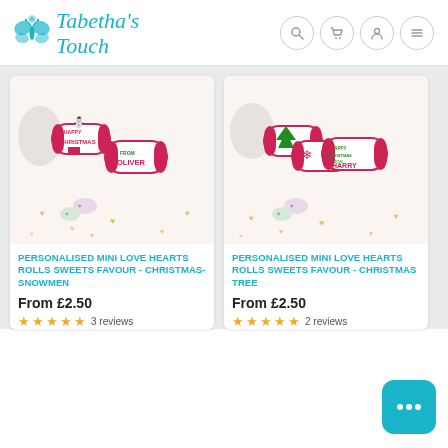[Figure (logo): Tabetha's Touch logo with teal cursive text and butterfly illustration]
[Figure (photo): Personalised mini love hearts rolls sweets with snowman Christmas design, product photo]
[Figure (photo): Personalised mini love hearts rolls sweets with Christmas tree design, product photo]
PERSONALISED MINI LOVE HEARTS ROLLS SWEETS FAVOUR - CHRISTMAS-SNOWMEN
From £2.50
3 reviews
PERSONALISED MINI LOVE HEARTS ROLLS SWEETS FAVOUR - CHRISTMAS TREE
From £2.50
2 reviews